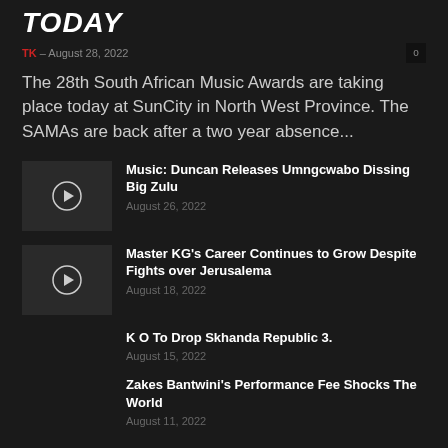TODAY
TK – August 28, 2022
The 28th South African Music Awards are taking place today at SunCity in North West Province. The SAMAs are back after a two year absence...
Music: Duncan Releases Umngcwabo Dissing Big Zulu – August 26, 2022
Master KG's Career Continues to Grow Despite Fights over Jerusalema – August 18, 2022
K O To Drop Skhanda Republic 3. – August 15, 2022
Zakes Bantwini's Performance Fee Shocks The World – August 11, 2022